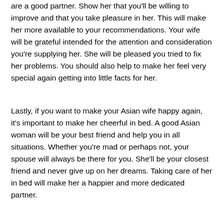are a good partner. Show her that you'll be willing to improve and that you take pleasure in her. This will make her more available to your recommendations. Your wife will be grateful intended for the attention and consideration you're supplying her. She will be pleased you tried to fix her problems. You should also help to make her feel very special again getting into little facts for her.
Lastly, if you want to make your Asian wife happy again, it's important to make her cheerful in bed. A good Asian woman will be your best friend and help you in all situations. Whether you're mad or perhaps not, your spouse will always be there for you. She'll be your closest friend and never give up on her dreams. Taking care of her in bed will make her a happier and more dedicated partner.